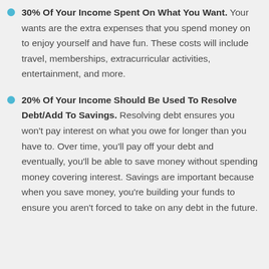30% Of Your Income Spent On What You Want. Your wants are the extra expenses that you spend money on to enjoy yourself and have fun. These costs will include travel, memberships, extracurricular activities, entertainment, and more.
20% Of Your Income Should Be Used To Resolve Debt/Add To Savings. Resolving debt ensures you won't pay interest on what you owe for longer than you have to. Over time, you'll pay off your debt and eventually, you'll be able to save money without spending money covering interest. Savings are important because when you save money, you're building your funds to ensure you aren't forced to take on any debt in the future.